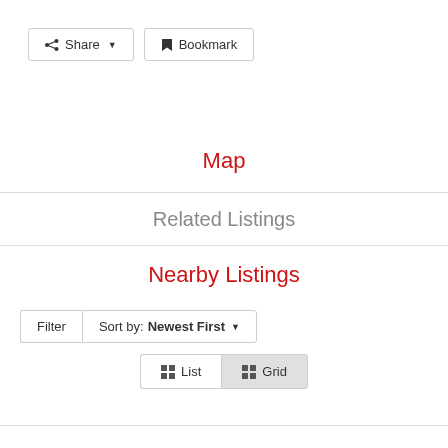[Figure (screenshot): Share button with share icon and dropdown arrow]
[Figure (screenshot): Bookmark button with bookmark icon]
Map
Related Listings
Nearby Listings
[Figure (screenshot): Filter button and Sort by: Newest First dropdown]
[Figure (screenshot): List and Grid view toggle buttons]